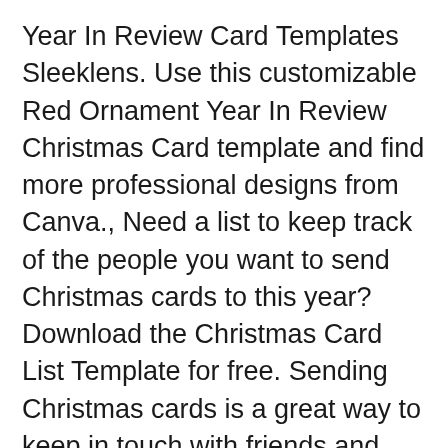Year In Review Card Templates Sleeklens. Use this customizable Red Ornament Year In Review Christmas Card template and find more professional designs from Canva., Need a list to keep track of the people you want to send Christmas cards to this year? Download the Christmas Card List Template for free. Sending Christmas cards is a great way to keep in touch with friends and family.It lets people know youвЂ™re thinking about them..
This is so much more than a layered template!! It has spaces for 12 months with curled photo frames, background paper, titles and labels you can leave in